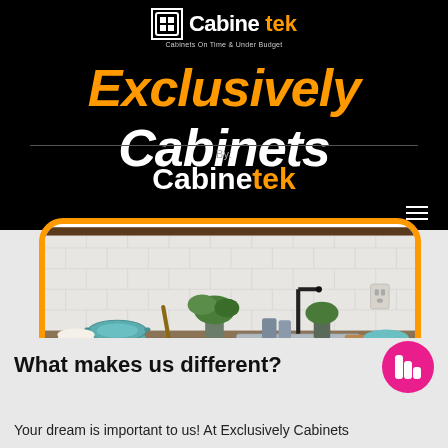[Figure (logo): Cabinetek logo with white and orange text and grid icon, tagline: Cabinets On Time & Under Budget]
Exclusively Cabinets
By: Cabinetek
[Figure (screenshot): Phone mockup showing a kitchen counter scene with white subway tiles, black faucet, teal cookware, potted plants, and granite countertop]
What makes us different?
Your dream is important to us! At Exclusively Cabinets